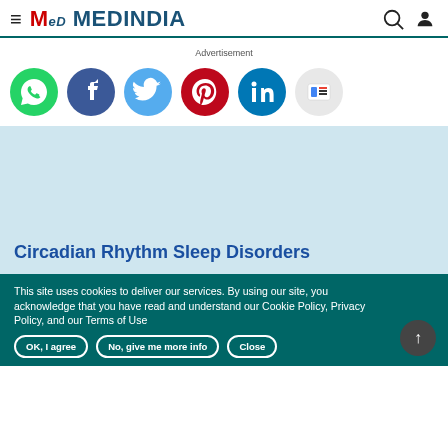MEDINDIA
Advertisement
[Figure (illustration): Social media sharing icons row: WhatsApp (green), Facebook (blue), Twitter (light blue), Pinterest (red), LinkedIn (dark blue), Google News (grey)]
[Figure (illustration): Light blue article header image area with title: Circadian Rhythm Sleep Disorders]
Circadian Rhythm Sleep Disorders
This site uses cookies to deliver our services. By using our site, you acknowledge that you have read and understand our Cookie Policy, Privacy Policy, and our Terms of Use